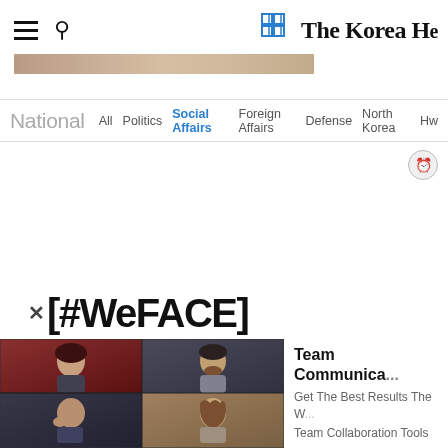The Korea Herald — hamburger menu, search icon, logo
National  All  Politics  Social Affairs  Foreign Affairs  Defense  North Korea  Hw...
[Figure (screenshot): Advertisement area with close/clock button]
[#WeFACE]
[Figure (photo): Video call grid with four participants: top-left woman with dark hair against red background, top-right man with beard in grey shirt, bottom-left bald man touching face, bottom-right woman with brown wavy hair]
Team Communica... Get The Best Results The W... Team Collaboration Tools